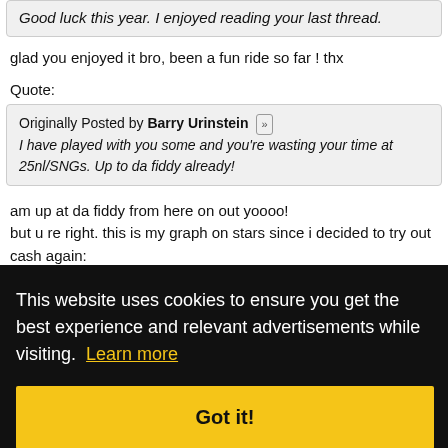Good luck this year. I enjoyed reading your last thread.
glad you enjoyed it bro, been a fun ride so far ! thx
Quote:
Originally Posted by Barry Urinstein
I have played with you some and you're wasting your time at 25nl/SNGs. Up to da fiddy already!
am up at da fiddy from here on out yoooo!
but u re right. this is my graph on stars since i decided to try out cash again:
This website uses cookies to ensure you get the best experience and relevant advertisements while visiting. Learn more
Got it!
[Figure (continuous-plot): Partial view of a poker graph showing bankroll over time on PokerStars, with y-axis values visible on the right side]
the massive hickup was in the middle of my nl50 session but